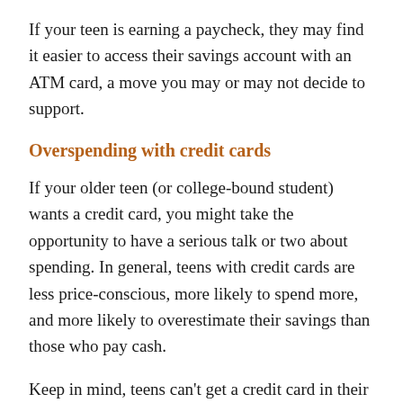If your teen is earning a paycheck, they may find it easier to access their savings account with an ATM card, a move you may or may not decide to support.
Overspending with credit cards
If your older teen (or college-bound student) wants a credit card, you might take the opportunity to have a serious talk or two about spending. In general, teens with credit cards are less price-conscious, more likely to spend more, and more likely to overestimate their savings than those who pay cash.
Keep in mind, teens can't get a credit card in their own name before the age of 18. Young people between 18 and 21 need a cosigner or verifiable income to get one. If you decide your teen should have access to a credit